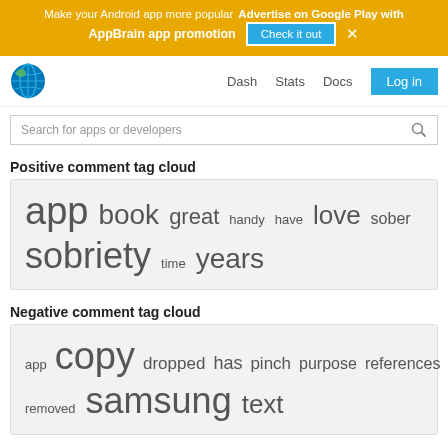Make your Android app more popular  Advertise on Google Play with AppBrain app promotion  Check it out  ×
[Figure (screenshot): Navigation bar with globe logo, Dash, Stats, Docs links and Log in button]
Search for apps or developers
Positive comment tag cloud
[Figure (infographic): Positive comment tag cloud with words: app (very large), book (large), great (medium-large), handy (small), have (small), love (large), sober (medium), sobriety (very large), time (small), years (large)]
Negative comment tag cloud
[Figure (infographic): Negative comment tag cloud with words: app (small), copy (very large), dropped (medium), has (medium), pinch (medium), purpose (medium), references (medium), removed (small), samsung (very large), text (large)]